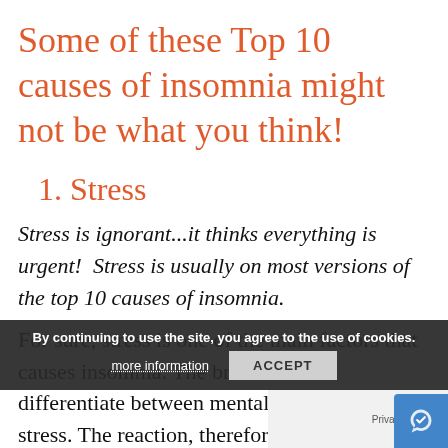Some of these Top 10 causes of insomnia might not be what you think!
1. Stress
Stress is ignorant...it thinks everything is urgent!  Stress is usually on most versions of the top 10 causes of insomnia.
For sure, stress is one of the main factors that causes insomnia. The brain doesn’t differentiate between mental and physical stress. The reaction, therefore is identical.
The stress response will have your heart racin…
By continuing to use the site, you agree to the use of cookies.
more information   ACCEPT
Privacy · Terms